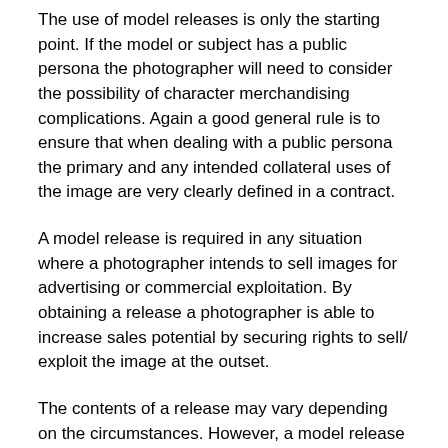The use of model releases is only the starting point. If the model or subject has a public persona the photographer will need to consider the possibility of character merchandising complications. Again a good general rule is to ensure that when dealing with a public persona the primary and any intended collateral uses of the image are very clearly defined in a contract.
A model release is required in any situation where a photographer intends to sell images for advertising or commercial exploitation. By obtaining a release a photographer is able to increase sales potential by securing rights to sell/ exploit the image at the outset.
The contents of a release may vary depending on the circumstances. However, a model release should contain the following:
(i) The names of both contracting parties; and
(ii) Details of the sitting (date, time, hours worked etc); and
(iii) Total hours and total fee; and